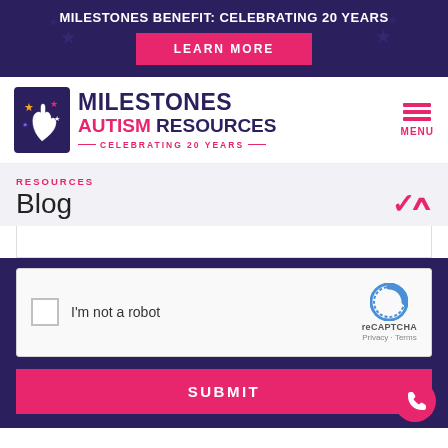MILESTONES BENEFIT: CELEBRATING 20 YEARS
LEARN MORE
[Figure (logo): Milestones Autism Resources logo with hand and stars icon, text MILESTONES AUTISM RESOURCES, CELEBRATING 20 YEARS]
MENU
RESOURCES
Blog
[Figure (other): reCAPTCHA widget with checkbox, I'm not a robot text, and reCAPTCHA logo]
SUBMIT